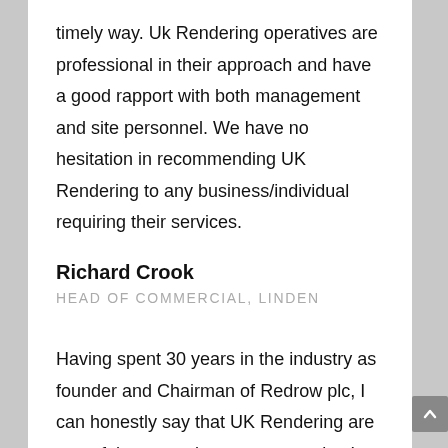timely way. Uk Rendering operatives are professional in their approach and have a good rapport with both management and site personnel. We have no hesitation in recommending UK Rendering to any business/individual requiring their services.
Richard Crook
HEAD OF COMMERCIAL, LINDEN
Having spent 30 years in the industry as founder and Chairman of Redrow plc, I can honestly say that UK Rendering are one of the most pleasant companies I have had the pleasure to work with. I have absolutely